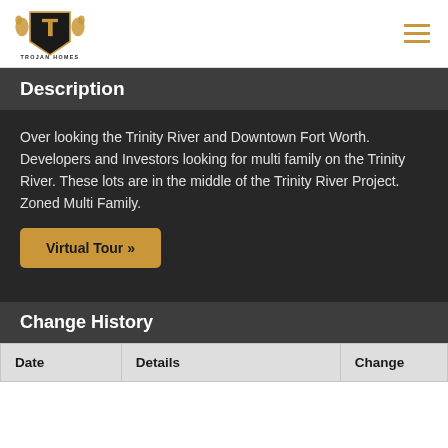Trojan Homes [logo] [hamburger menu]
Description
Over looking the Trinity River and Downtown Fort Worth. Developers and Investors looking for multi family on the Trinity River. These lots are in the middle of the Trinity River Project. Zoned Multi Family.
Virtual Tour »
Change History
| Date | Details | Change |
| --- | --- | --- |